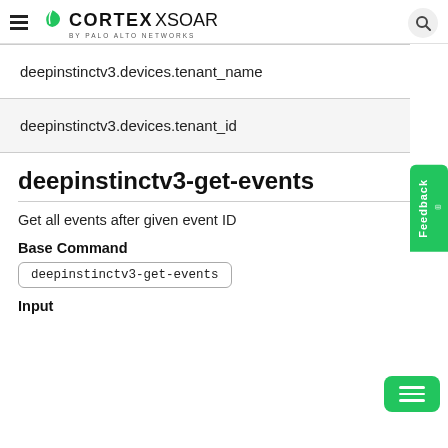CORTEX XSOAR by Palo Alto Networks
| deepinstinctv3.devices.tenant_name |
| deepinstinctv3.devices.tenant_id |
deepinstinctv3-get-events
Get all events after given event ID
Base Command
deepinstinctv3-get-events
Input